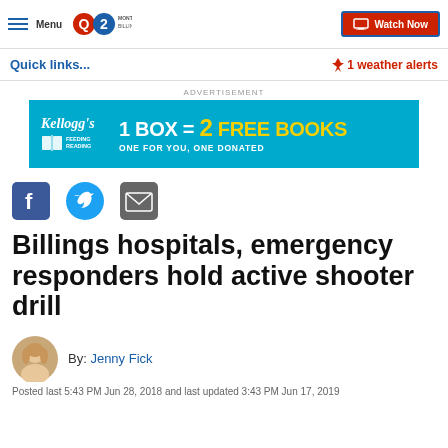Menu | Q2 | Montana's News Leader Billings | Watch Now
Quick links...
1 weather alerts
ADVERTISEMENT
[Figure (infographic): Kellogg's Feeding Reading advertisement banner: 1 BOX = 2 FREE BOOKS, ONE FOR YOU, ONE DONATED]
[Figure (infographic): Social sharing icons: Facebook, Twitter, Email]
Billings hospitals, emergency responders hold active shooter drill
By: Jenny Fick
Posted last 5:43 PM Jun 28, 2018 and last updated 3:43 PM Jun 17, 2019